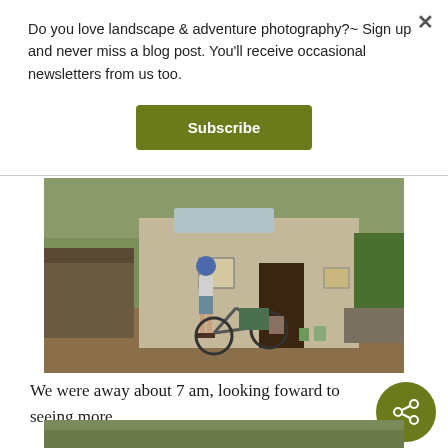Do you love landscape & adventure photography?~ Sign up and never miss a blog post. You'll receive occasional newsletters from us too.
Subscribe
[Figure (photo): A cyclist with a blue helmet stands next to a loaded touring bicycle in front of a rustic concrete building with a dark doorway. Green hills and vegetation visible in the background. Dirt ground in foreground.]
We were away about 7 am, looking foward to seeing more.